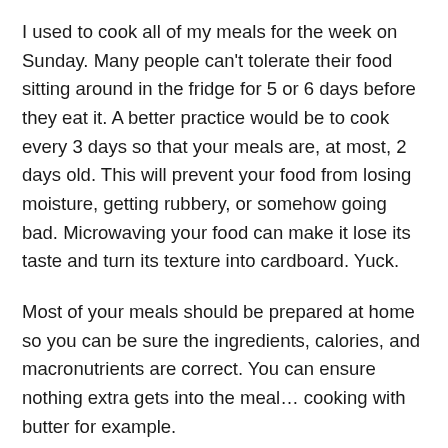I used to cook all of my meals for the week on Sunday. Many people can't tolerate their food sitting around in the fridge for 5 or 6 days before they eat it. A better practice would be to cook every 3 days so that your meals are, at most, 2 days old. This will prevent your food from losing moisture, getting rubbery, or somehow going bad. Microwaving your food can make it lose its taste and turn its texture into cardboard. Yuck.
Most of your meals should be prepared at home so you can be sure the ingredients, calories, and macronutrients are correct. You can ensure nothing extra gets into the meal… cooking with butter for example.
At times you will have to eat out at a restaurant or even grab fast food, so you better have a fast food meal plan in place. Salads and grilled chicken